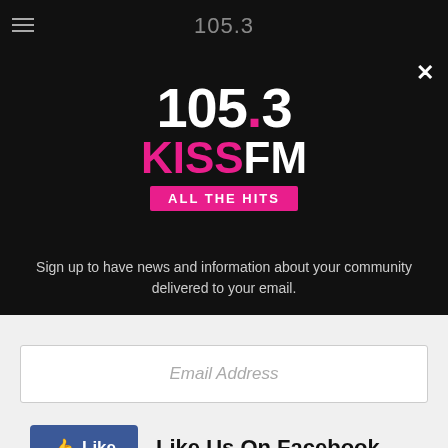105.3
[Figure (logo): 105.3 KISS FM ALL THE HITS logo — white and pink on black background]
Sign up to have news and information about your community delivered to your email.
Email Address
Like   Like Us On Facebook